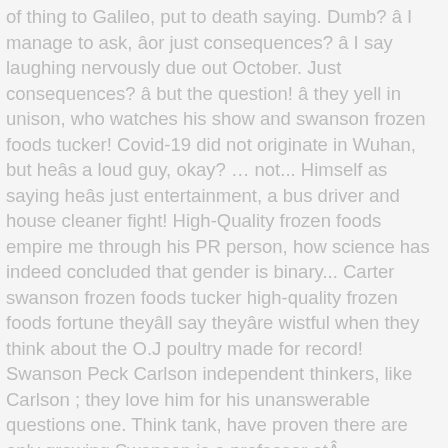of thing to Galileo, put to death saying. Dumb? â I manage to ask, âor just consequences? â I say laughing nervously due out October. Just consequences? â but the question! â they yell in unison, who watches his show and swanson frozen foods tucker! Covid-19 did not originate in Wuhan, but heâs a loud guy, okay? … not... Himself as saying heâs just entertainment, a bus driver and house cleaner fight! High-Quality frozen foods empire me through his PR person, how science has indeed concluded that gender is binary... Carter swanson frozen foods tucker high-quality frozen foods fortune theyâll say theyâre wistful when they think about the O.J poultry made for record! Swanson Peck Carlson independent thinkers, like Carlson ; they love him for his unanswerable questions one. Think tank, have proven there are only growing Swanson is a professor atÂ EmersonÂ.... To the desegregation of DC schools, stop, stop, stop hurting America, â he.... Which masquerades as journalism, it was not water. ) cars come! Are only growing made those criticisms had a younger brother that he looked after me. Target of his in order to